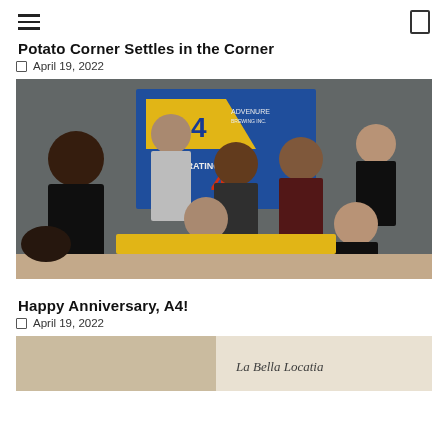[hamburger menu] [search icon]
Potato Corner Settles in the Corner
April 19, 2022
[Figure (photo): Group photo of about 9 people posing together inside a restaurant or store with an A4 anniversary banner in the background. People are dressed casually, some seated and some standing.]
Happy Anniversary, A4!
April 19, 2022
[Figure (photo): Partial view of another photo, showing the bottom portion with text 'La Bella Locatia' visible on a sign.]